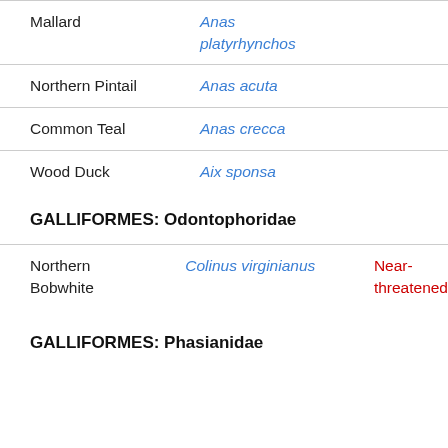| Common Name | Scientific Name | Status |
| --- | --- | --- |
| Mallard | Anas platyrhynchos |  |
| Northern Pintail | Anas acuta |  |
| Common Teal | Anas crecca |  |
| Wood Duck | Aix sponsa |  |
GALLIFORMES: Odontophoridae
| Common Name | Scientific Name | Status |
| --- | --- | --- |
| Northern Bobwhite | Colinus virginianus | Near-threatened |
GALLIFORMES: Phasianidae